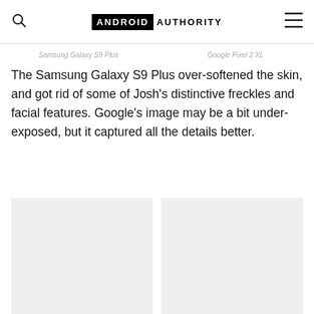ANDROID AUTHORITY
Samsung Galaxy S9 Plus   Google Pixel 2 XL
The Samsung Galaxy S9 Plus over-softened the skin, and got rid of some of Josh's distinctive freckles and facial features. Google's image may be a bit under-exposed, but it captured all the details better.
[Figure (photo): Two side-by-side photo placeholders comparing Samsung Galaxy S9 Plus and Google Pixel 2 XL camera samples]